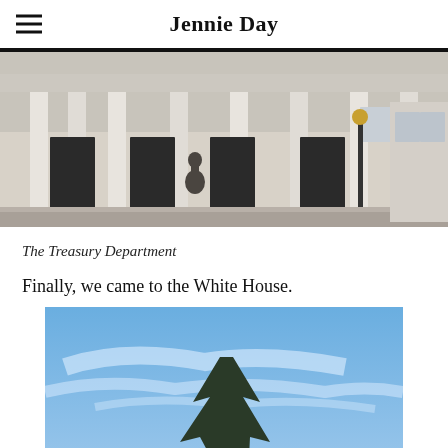Jennie Day
[Figure (photo): Photograph of the Treasury Department building facade with tall columns and a bronze statue in front]
The Treasury Department
Finally, we came to the White House.
[Figure (photo): Photograph of a blue sky with wispy clouds and the top of a evergreen tree visible at the bottom, taken near the White House]